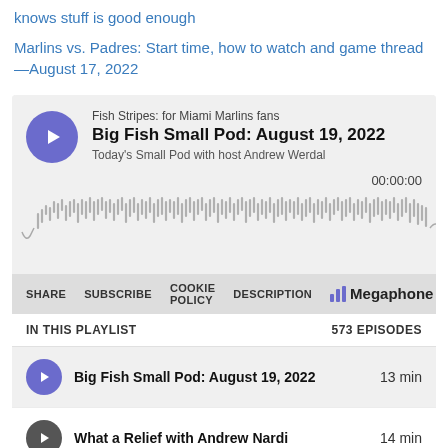knows stuff is good enough
Marlins vs. Padres: Start time, how to watch and game thread—August 17, 2022
[Figure (screenshot): Embedded podcast player for 'Big Fish Small Pod: August 19, 2022' from Fish Stripes: for Miami Marlins fans, with waveform visualization, time 00:00:00, share/subscribe/cookie policy/description controls, Megaphone branding, and playlist showing 573 episodes.]
Big Fish Small Pod: August 19, 2022  13 min
What a Relief with Andrew Nardi  14 min